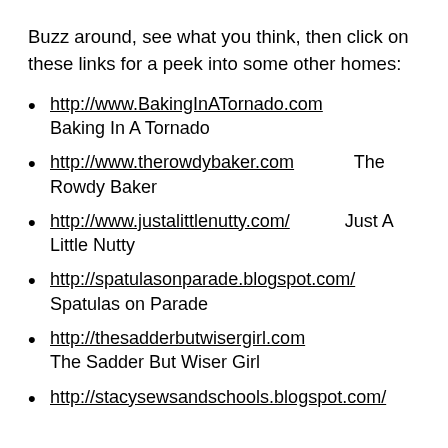Buzz around, see what you think, then click on these links for a peek into some other homes:
http://www.BakingInATornado.com
Baking In A Tornado
http://www.therowdybaker.com  The Rowdy Baker
http://www.justalittlenutty.com/  Just A Little Nutty
http://spatulasonparade.blogspot.com/
Spatulas on Parade
http://thesadderbutwisergirl.com
The Sadder But Wiser Girl
http://stacysewsandschools.blogspot.com/